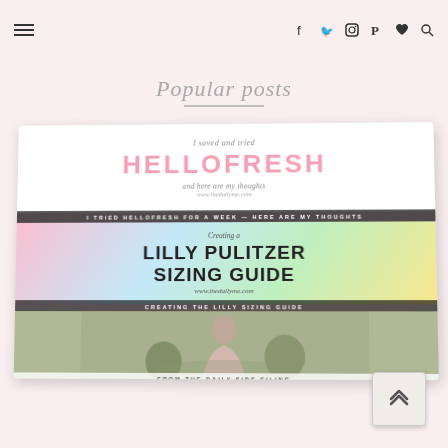Navigation bar with hamburger menu and social icons (Facebook, Twitter, Instagram, Pinterest, Heart, Search)
Popular posts
[Figure (infographic): A collage of three popular blog post cards shown in a perspective-tilted panel. Card 1: HelloFresh review post with pink logo text and italic description. Card 2: Lilly Pulitzer Sizing Guide with colorful pastel background. Card 3: Photo of a person outdoors.]